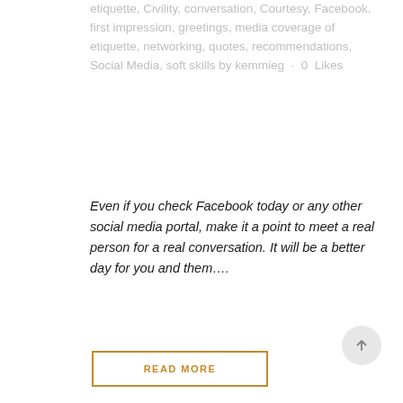etiquette, Civility, conversation, Courtesy, Facebook, first impression, greetings, media coverage of etiquette, networking, quotes, recommendations, Social Media, soft skills by kemmieg · 0 Likes
Even if you check Facebook today or any other social media portal, make it a point to meet a real person for a real conversation. It will be a better day for you and them….
READ MORE